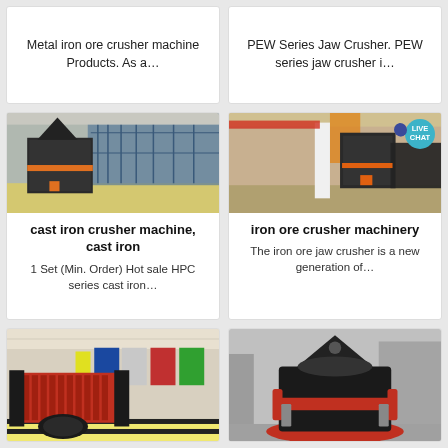Metal iron ore crusher machine Products. As a…
PEW Series Jaw Crusher. PEW series jaw crusher i…
[Figure (photo): Industrial impact crusher machine inside a large factory with glass wall windows]
[Figure (photo): Multiple large iron ore crusher machines in an industrial facility with a Live Chat badge overlay]
cast iron crusher machine, cast iron
1 Set (Min. Order) Hot sale HPC series cast iron…
iron ore crusher machinery
The iron ore jaw crusher is a new generation of…
[Figure (photo): Red industrial roller crusher machine inside a warehouse factory with colorful flags in background]
[Figure (photo): Large black and red cone crusher machine in a factory setting]